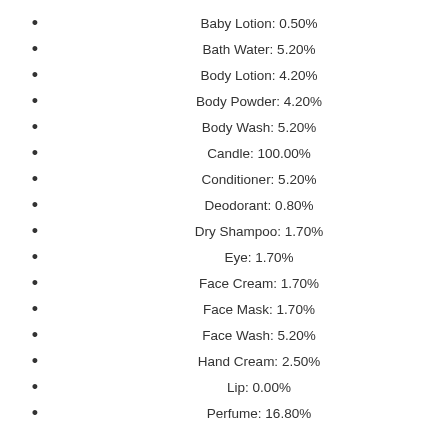Baby Lotion: 0.50%
Bath Water: 5.20%
Body Lotion: 4.20%
Body Powder: 4.20%
Body Wash: 5.20%
Candle: 100.00%
Conditioner: 5.20%
Deodorant: 0.80%
Dry Shampoo: 1.70%
Eye: 1.70%
Face Cream: 1.70%
Face Mask: 1.70%
Face Wash: 5.20%
Hand Cream: 2.50%
Lip: 0.00%
Perfume: 16.80%